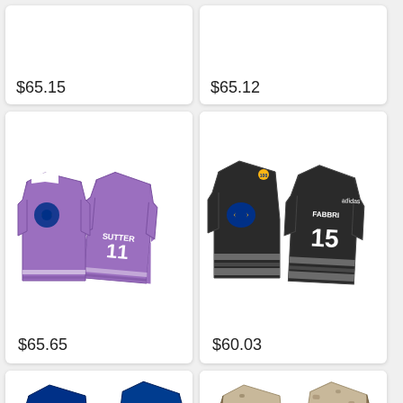$65.15
$65.12
[Figure (photo): Purple St. Louis Blues hockey jersey with SUTTER 11]
$65.65
[Figure (photo): Dark/black St. Louis Blues hockey jersey with FABBRI 15]
$60.03
[Figure (photo): Blue St. Louis Blues hockey jersey with American flag pattern, FABBRI 15]
[Figure (photo): Tan/camo St. Louis Blues hockey jersey with FABBRI 15]